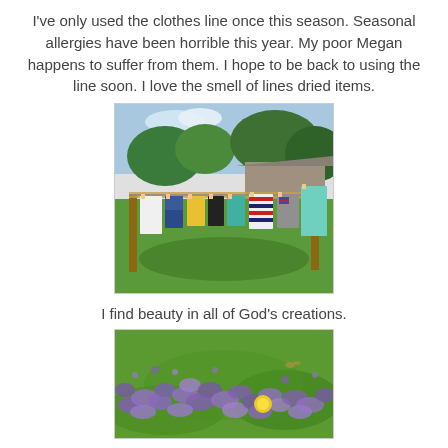I've only used the clothes line once this season.  Seasonal allergies have been horrible this year.  My poor Megan happens to suffer from them.  I hope to be back to using the line soon.  I love the smell of lines dried items.
[Figure (photo): Photograph of colorful clothes hanging on an outdoor clothesline in a green backyard with trees and a house visible in the background.]
I find beauty in all of God's creations.
[Figure (photo): Photograph of purple wildflowers (possibly creeping phlox or ageratum) with a yellow dandelion visible, growing in green grass.]